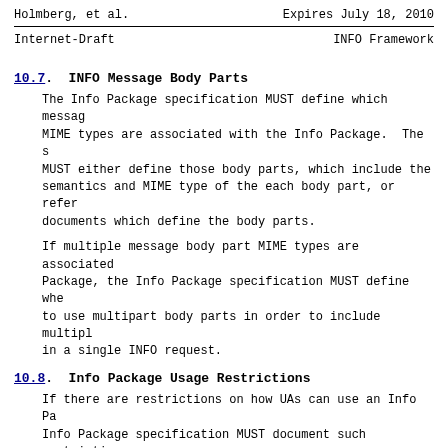Holmberg, et al.    Expires July 18, 2010
Internet-Draft                      INFO Framework
10.7.  INFO Message Body Parts
The Info Package specification MUST define which message body MIME types are associated with the Info Package.  The specification MUST either define those body parts, which include the semantics and MIME type of the each body part, or reference documents which define the body parts.
If multiple message body part MIME types are associated with the Info Package, the Info Package specification MUST define whether to use multipart body parts in order to include multiple body parts in a single INFO request.
10.8.  Info Package Usage Restrictions
If there are restrictions on how UAs can use an Info Package, the Info Package specification MUST document such restrictions.
There can be restrictions related to whether UAs are allowed to send overlapping (outstanding) INFO requests associated with the same Info Package, or whether the UA has to wait for the response to a previous INFO request associated with the same Info Package.
There can be restrictions related to whether UAs are allowed to send...